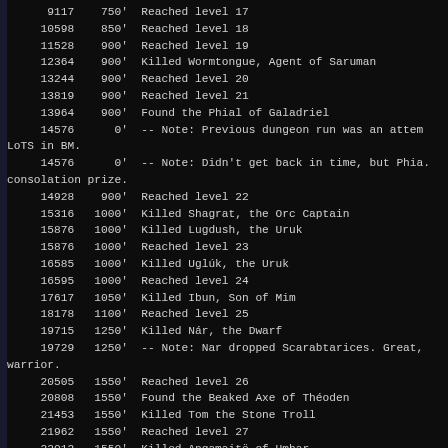Game log entries showing scores, depths, and events from a roguelike game (Angband/Middle-earth themed). Entries include level-ups, boss kills, and notes about dungeon runs.